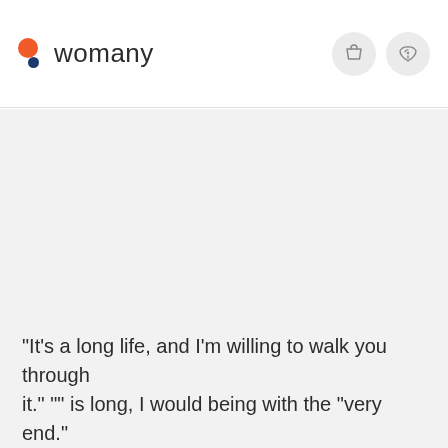womany
[Figure (photo): Large light gray image placeholder area below the header, taking up most of the page]
"It's a long life, and I'm willing to walk you through it." "" is long, I would being with the "very end."